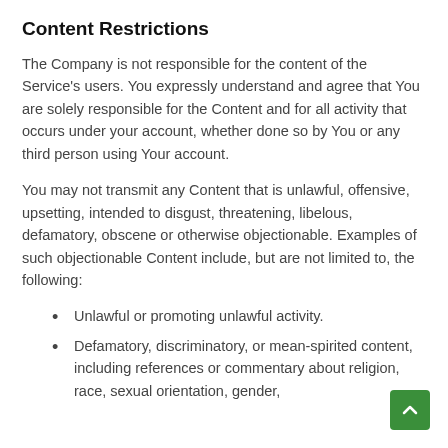Content Restrictions
The Company is not responsible for the content of the Service's users. You expressly understand and agree that You are solely responsible for the Content and for all activity that occurs under your account, whether done so by You or any third person using Your account.
You may not transmit any Content that is unlawful, offensive, upsetting, intended to disgust, threatening, libelous, defamatory, obscene or otherwise objectionable. Examples of such objectionable Content include, but are not limited to, the following:
Unlawful or promoting unlawful activity.
Defamatory, discriminatory, or mean-spirited content, including references or commentary about religion, race, sexual orientation, gender,